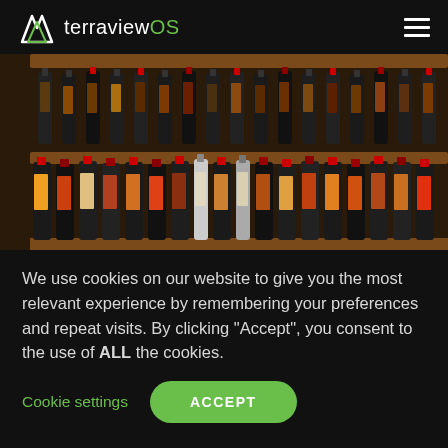terraviewOS
[Figure (photo): A wooden wine shelf filled with many wine bottles of various labels and types, viewed from the front. Red, white, and mixed wines with colorful labels are visible on multiple shelves.]
We use cookies on our website to give you the most relevant experience by remembering your preferences and repeat visits. By clicking “Accept”, you consent to the use of ALL the cookies.
Cookie settings   ACCEPT